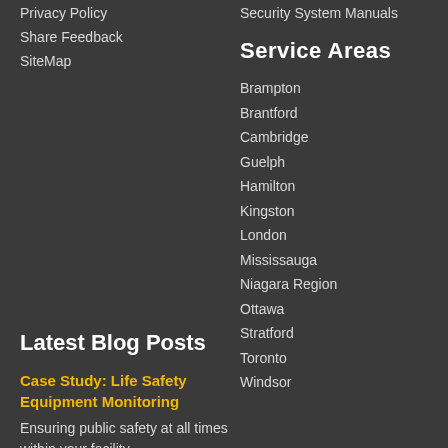Privacy Policy
Share Feedback
SiteMap
Security System Manuals
Service Areas
Brampton
Brantford
Cambridge
Guelph
Hamilton
Kingston
London
Mississauga
Niagara Region
Ottawa
Stratford
Toronto
Windsor
Latest Blog Posts
Case Study: Life Safety Equipment Monitoring
Ensuring public safety at all times within your facility